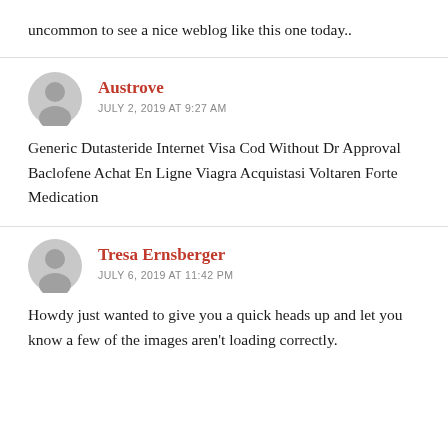uncommon to see a nice weblog like this one today..
Austrove
JULY 2, 2019 AT 9:27 AM
Generic Dutasteride Internet Visa Cod Without Dr Approval Baclofene Achat En Ligne Viagra Acquistasi Voltaren Forte Medication
Tresa Ernsberger
JULY 6, 2019 AT 11:42 PM
Howdy just wanted to give you a quick heads up and let you know a few of the images aren't loading correctly.